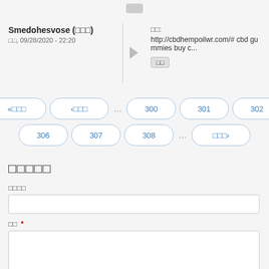Smedohesvose (□□□)
□□, 09/28/2020 - 22:20
□□: http://cbdhempoilwr.com/# cbd gummies buy c...
« □□□
‹ □□□
...
300
301
302
306
307
308
...
□□□ ›
□□□□□
□□□□
□□ *